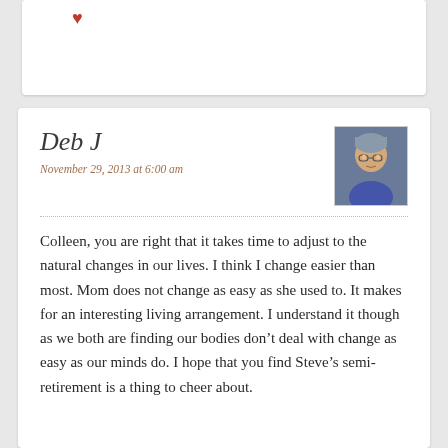[Figure (illustration): Top portion of a comment card with a red heart icon visible at top left]
Deb J
November 29, 2013 at 6:00 am
[Figure (photo): Small avatar photo of a woman with glasses]
Colleen, you are right that it takes time to adjust to the natural changes in our lives. I think I change easier than most. Mom does not change as easy as she used to. It makes for an interesting living arrangement. I understand it though as we both are finding our bodies don’t deal with change as easy as our minds do. I hope that you find Steve’s semi-retirement is a thing to cheer about.